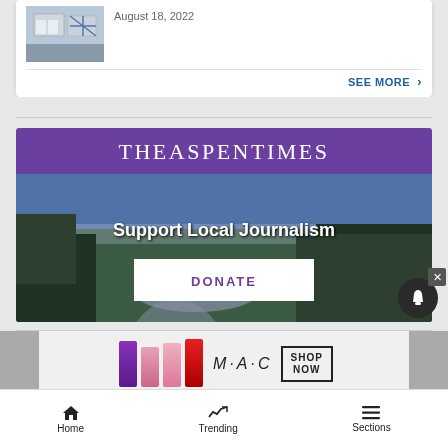[Figure (photo): Thumbnail image of an outdoor scene with signs and blue cross/grid symbol]
August 18, 2022
SEE MORE >
[Figure (infographic): The Aspen Times advertisement banner with purple header, mountain/river winter landscape photo, 'Support Local Journalism' text, and white DONATE button]
[Figure (photo): MAC cosmetics advertisement showing lipsticks, MAC logo, and SHOP NOW box]
Home   Trending   Sections